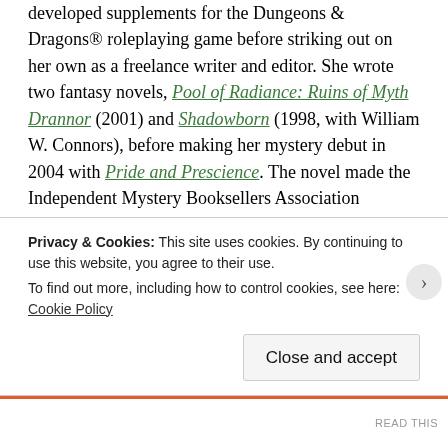developed supplements for the Dungeons & Dragons® roleplaying game before striking out on her own as a freelance writer and editor. She wrote two fantasy novels, Pool of Radiance: Ruins of Myth Drannor (2001) and Shadowborn (1998, with William W. Connors), before making her mystery debut in 2004 with Pride and Prescience. The novel made the Independent Mystery Booksellers Association bestseller list and was named one of the five best mysteries of the year by Library Journal. Successive Mr. & Mrs. Darcy mysteries have earned starred reviews from Publisher's Weekly, Library Journal, and other publications. North by Northanger won the Daphne du Maurier Award, which honors excellence in romantic suspense, and a Reviewers Choice Award from RT Book Reviews magazine for Best Historical Mystery of 2006. The
Privacy & Cookies: This site uses cookies. By continuing to use this website, you agree to their use.
To find out more, including how to control cookies, see here: Cookie Policy
Close and accept